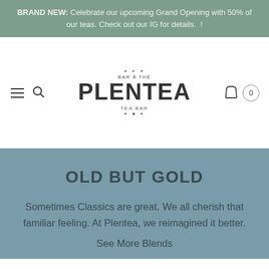BRAND NEW: Celebrate our upcoming Grand Opening with 50% of our teas. Check out our IG for details. 🎉 !
[Figure (logo): Plentea Tea Bar logo with 'BAR À THÉ' above and 'TEA BAR' below the main PLENTEA wordmark, with decorative dots/stars]
OLD BUT GOLD
Sometimes Classics are great. We all cherish that familiar feeling. At Plentea, we reimagined it better.
See More Blends